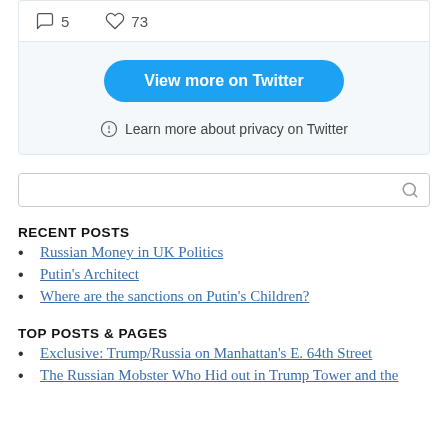[Figure (screenshot): Top of Twitter embed widget showing comment icon with 5 and heart icon with 73]
[Figure (screenshot): Twitter embed widget bottom section with 'View more on Twitter' button and 'Learn more about privacy on Twitter' link]
[Figure (screenshot): Search input box with magnifying glass icon]
RECENT POSTS
Russian Money in UK Politics
Putin's Architect
Where are the sanctions on Putin's Children?
TOP POSTS & PAGES
Exclusive: Trump/Russia on Manhattan's E. 64th Street
The Russian Mobster Who Hid out in Trump Tower and the